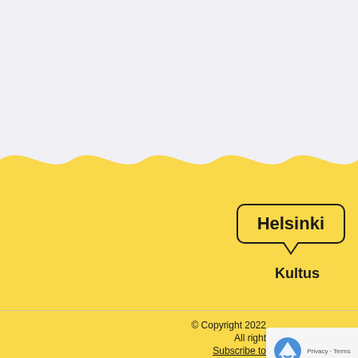[Figure (illustration): Map screenshot showing a yellow wavy area (water/land illustration) with a light gray background top section. A speech bubble badge labeled Helsinki with Kultus text appears on the right side.]
Helsinki
Kultus
© Copyright 2022
All right
Subscribe to